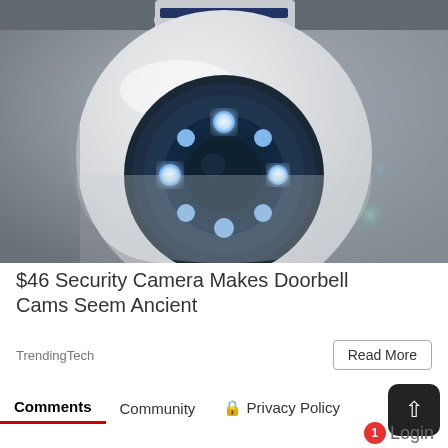[Figure (photo): Close-up photo of a white dome security camera with blue LED lights arranged in a circle around the lens, mounted on ceiling, glowing blue light bokeh in background]
$46 Security Camera Makes Doorbell Cams Seem Ancient
TrendingTech
Read More
Comments
Community
Privacy Policy
Login